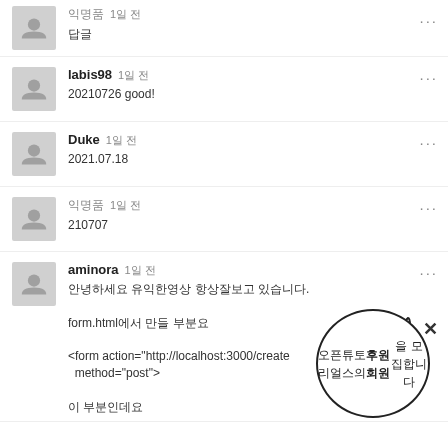익명 1일 전 / 답글
labis98 1일 전 / 20210726 good!
Duke 1일 전 / 2021.07.18
익명 1일 전 / 210707
aminora 1일 전 / 안녕하세요 유익한영상 항상잘보고 있습니다. / form.html에서 만들 부분요 / <form action="http://localhost:3000/create" method="post"> / 이 부분인데요
오픈튜토리얼스의 후원회원을 모집합니다